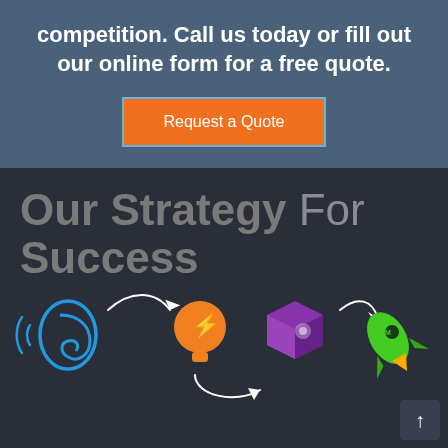competition. Call us today or fill out our online form for a free quote.
Request a Quote
Our Strategy For Success
[Figure (infographic): Four icons connected by curved arrows showing a strategy flow: blue ear (listen), orange head with brain (think/plan), purple box/package (deliver), green rocket with M (launch/market). White curved arrows connect them in sequence.]